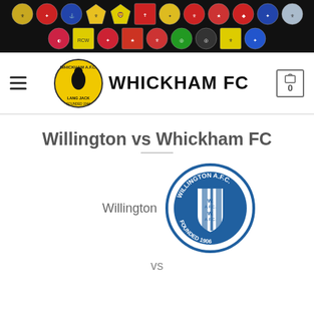[Figure (other): Banner strip with football club badges/crests on black background, two rows of approximately 12 crests each]
[Figure (logo): Whickham FC navigation bar with hamburger menu, yellow circular club badge (Lang Jack, Founded 1944), site title WHICKHAM FC, and cart icon showing 0]
Willington vs Whickham FC
[Figure (logo): Willington AFC circular badge in blue and white, showing shield with vertical stripes, W.AFC text, Founded 1906]
Willington
vs